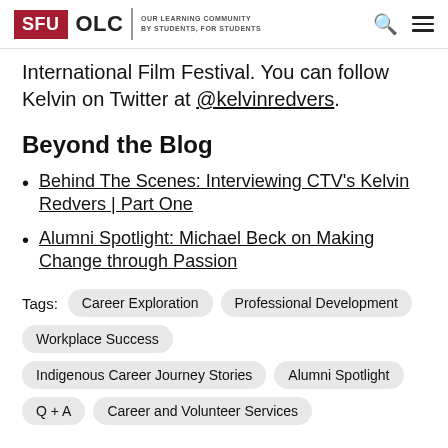SFU OLC | OUR LEARNING COMMUNITY BY STUDENTS, FOR STUDENTS
International Film Festival. You can follow Kelvin on Twitter at @kelvinredvers.
Beyond the Blog
Behind The Scenes: Interviewing CTV’s Kelvin Redvers | Part One
Alumni Spotlight: Michael Beck on Making Change through Passion
Tags: Career Exploration  Professional Development  Workplace Success  Indigenous Career Journey Stories  Alumni Spotlight  Q + A  Career and Volunteer Services